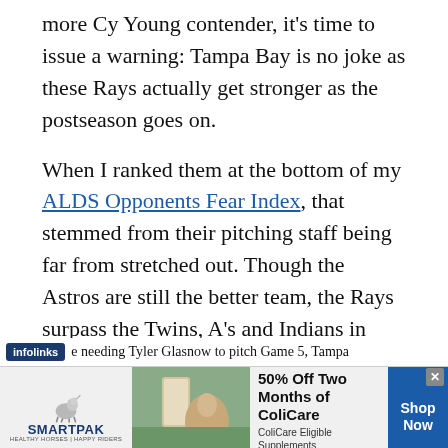more Cy Young contender, it’s time to issue a warning: Tampa Bay is no joke as these Rays actually get stronger as the postseason goes on.
When I ranked them at the bottom of my ALDS Opponents Fear Index, that stemmed from their pitching staff being far from stretched out. Though the Astros are still the better team, the Rays surpass the Twins, A’s and Indians in their abilities later in October. I’ll also readily admit I underestimated the team.
e needing Tyler Glasnow to pitch Game 5, Tampa
[Figure (screenshot): SmartPak advertisement banner: 50% Off Two Months of ColiCare, ColiCare Eligible Supplements, CODE: COLICARE10, with Shop Now button]